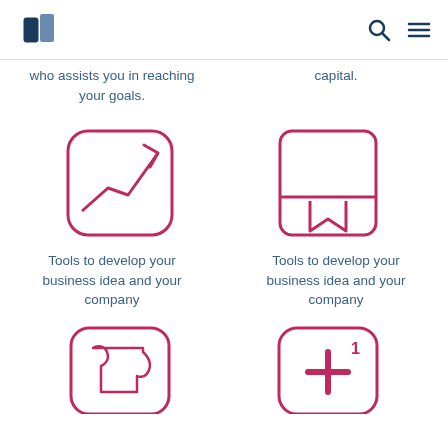Logo | Search | Menu
who assists you in reaching your goals.
capital.
[Figure (illustration): Line chart icon inside a rounded square border in pink/crimson, showing an upward trending line with an arrow]
[Figure (illustration): Bookmark/book icon inside a rounded rectangle border in pink/crimson, showing a folded bookmark shape]
Tools to develop your business idea and your company
Tools to develop your business idea and your company
[Figure (illustration): Puzzle piece icon inside a rounded square border in pink/crimson]
[Figure (illustration): Plus sign with superscript 1 icon inside a rounded square border in pink/crimson]